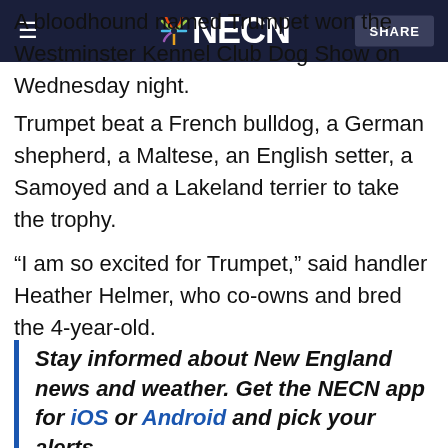NECN
A bloodhound named Trumpet won the Westminster Kennel Club Dog Show on Wednesday night.
Trumpet beat a French bulldog, a German shepherd, a Maltese, an English setter, a Samoyed and a Lakeland terrier to take the trophy.
“I am so excited for Trumpet,” said handler Heather Helmer, who co-owns and bred the 4-year-old.
Stay informed about New England news and weather. Get the NECN app for iOS or Android and pick your alerts.